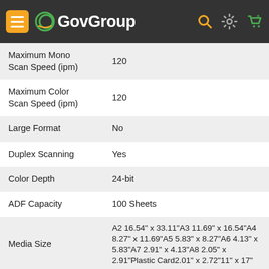GovGroup
| Specification | Value |
| --- | --- |
| Maximum Mono Scan Speed (ipm) | 120 |
| Maximum Color Scan Speed (ipm) | 120 |
| Large Format | No |
| Duplex Scanning | Yes |
| Color Depth | 24-bit |
| ADF Capacity | 100 Sheets |
| Media Size | A2 16.54" x 33.11"A3 11.69" x 16.54"A4 8.27" x 11.69"A5 5.83" x 8.27"A6 4.13" x 5.83"A7 2.91" x 4.13"A8 2.05" x 2.91"Plastic Card2.01" x 2.72"11" x 17" |
| Environmentally Friendly | Yes |
| Environmental Certification | ENERGY STAR 2.0RoHSEPEAT Silver |